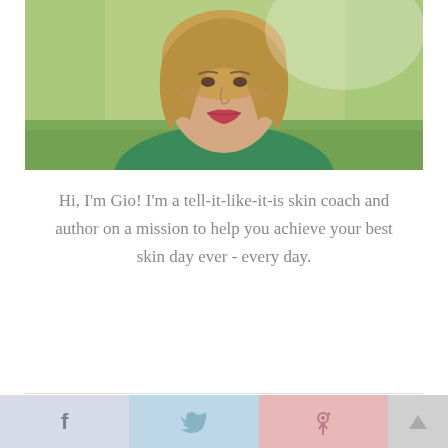[Figure (photo): Portrait photo of a woman with short blonde hair wearing a green sleeveless top with a necklace, photographed outdoors against a green grassy background]
Hi, I'm Gio! I'm a tell-it-like-it-is skin coach and author on a mission to help you achieve your best skin day ever - every day.
[Figure (infographic): Footer social media sharing bar with Facebook (f), Twitter (bird), and Pinterest (p) icon buttons in pale blue-grey, light blue, and pink sections respectively, plus a scroll-to-top arrow button]